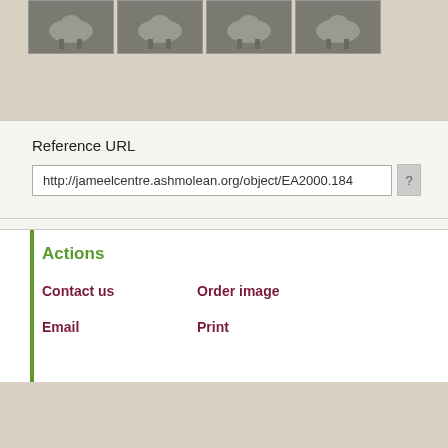[Figure (photo): Four thumbnail photographs of museum objects (animal figurines) shown in a row at top of page]
Reference URL
http://jameelcentre.ashmolean.org/object/EA2000.184
Actions
Contact us
Order image
Email
Print